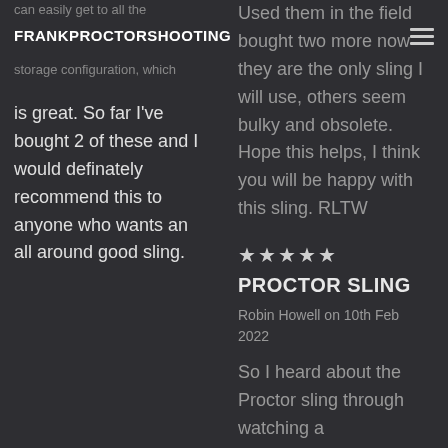FRANKPROCTORSHOOTING
can easily get to all the storage configuration, which is great. So far I've bought 2 of these and I would definately recommend this to anyone who wants an all around good sling.
Used them in the field bought two more now they are the only sling I will use, others seem bulky and obsolete. Hope this helps, I think you will be happy with this sling. RLTW
★★★★★
PROCTOR SLING
Robin Howell on 10th Feb 2022
So I heard about the Proctor sling through watching a